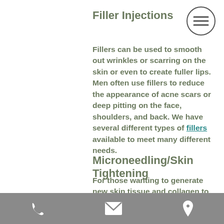Filler Injections
Fillers can be used to smooth out wrinkles or scarring on the skin or even to create fuller lips. Men often use fillers to reduce the appearance of acne scars or deep pitting on the face, shoulders, and back. We have several different types of fillers available to meet many different needs.
Microneedling/Skin Tightening
For those wanting to generate new skin tissue and collagen to achieve firmer and smoother
phone | email | location